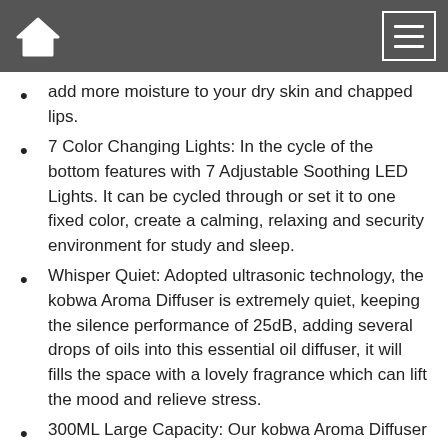Navigation bar with home icon and menu icon
add more moisture to your dry skin and chapped lips.
7 Color Changing Lights: In the cycle of the bottom features with 7 Adjustable Soothing LED Lights. It can be cycled through or set it to one fixed color, create a calming, relaxing and security environment for study and sleep.
Whisper Quiet: Adopted ultrasonic technology, the kobwa Aroma Diffuser is extremely quiet, keeping the silence performance of 25dB, adding several drops of oils into this essential oil diffuser, it will fills the space with a lovely fragrance which can lift the mood and relieve stress.
300ML Large Capacity: Our kobwa Aroma Diffuser can hold up to 300ml of water and produce up to 28ml of moisture per hour. It can run up to 8 hours great mist